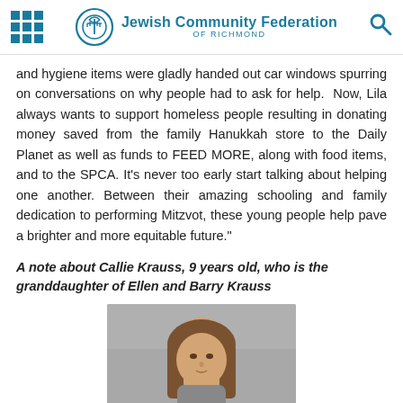Jewish Community Federation OF RICHMOND
and hygiene items were gladly handed out car windows spurring on conversations on why people had to ask for help.  Now, Lila always wants to support homeless people resulting in donating money saved from the family Hanukkah store to the Daily Planet as well as funds to FEED MORE, along with food items, and to the SPCA. It's never too early start talking about helping one another. Between their amazing schooling and family dedication to performing Mitzvot, these young people help pave a brighter and more equitable future."
A note about Callie Krauss, 9 years old, who is the granddaughter of Ellen and Barry Krauss
[Figure (photo): Portrait photo of a young girl with long brown hair, seated in what appears to be a car interior with gray seats.]